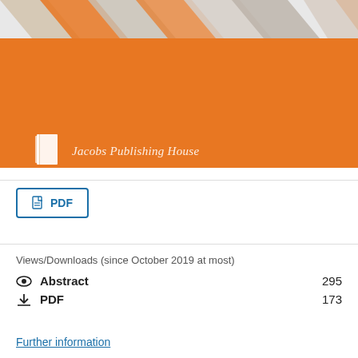[Figure (logo): Jacobs Publishing House banner with geometric pattern at top and orange background with book icon and publisher name]
Views/Downloads (since October 2019 at most)
Abstract 295
PDF 173
Further information